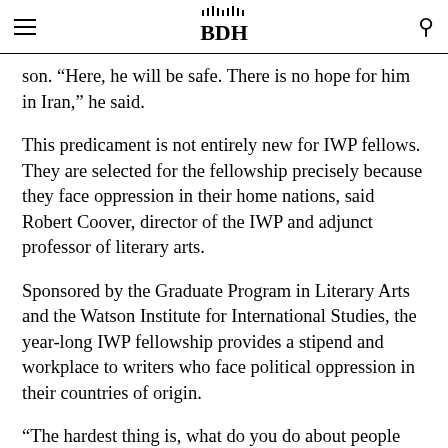BDH
son. “Here, he will be safe. There is no hope for him in Iran,” he said.
This predicament is not entirely new for IWP fellows. They are selected for the fellowship precisely because they face oppression in their home nations, said Robert Coover, director of the IWP and adjunct professor of literary arts.
Sponsored by the Graduate Program in Literary Arts and the Watson Institute for International Studies, the year-long IWP fellowship provides a stipend and workplace to writers who face political oppression in their countries of origin.
“The hardest thing is, what do you do about people when